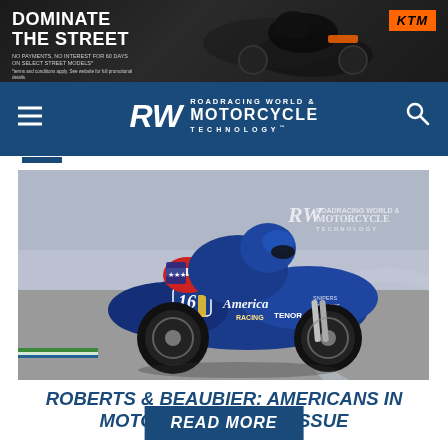[Figure (photo): KTM advertisement banner: 'DOMINATE THE STREET - NO PAYMENTS, NO INTEREST FOR 60 DAYS ON SELECT STREET MODELS*' with motorcycle rider image and orange KTM logo]
RW ROADRACING WORLD & MOTORCYCLE TECHNOLOGY
[Figure (photo): Racing motorcycle rider in blue American Racing livery leaning into a corner on track, number 16, with RW Roadracing World & Motorcycle Technology watermark]
ROBERTS & BEAUBIER: AMERICANS IN MOTO2, IN JANUARY ISSUE
READ MORE